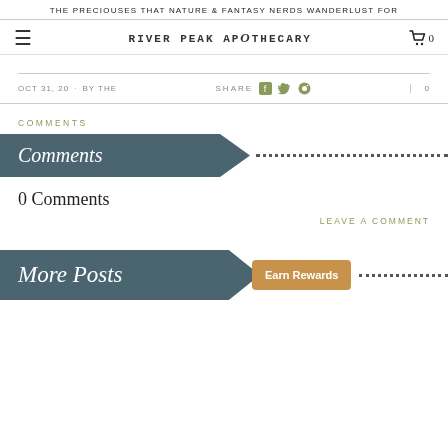THE PRECIOUSES THAT NATURE & FANTASY NERDS WANDERLUST FOR
[Figure (logo): River Peak Apothecary logo with navigation icons (hamburger menu, cart)]
OCT 31, 20 · BY THE    SHARE   0
COMMENTS
[Figure (infographic): Teal banner shape with 'Comments' in italic serif font followed by a dotted line]
0 Comments
LEAVE A COMMENT
[Figure (infographic): Teal banner shape with 'More Posts' in italic serif font with an 'Earn Rewards' orange badge overlapping, followed by a dotted line]